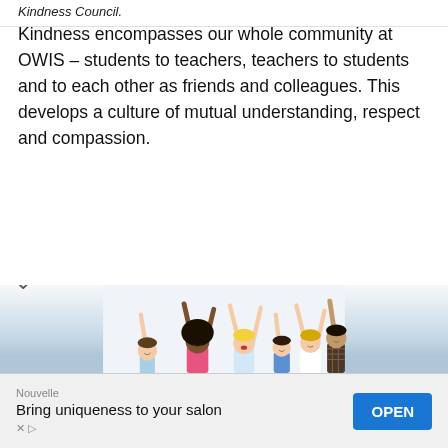Kindness Council.
Kindness encompasses our whole community at OWIS – students to teachers, teachers to students and to each other as friends and colleagues. This develops a culture of mutual understanding, respect and compassion.
[Figure (photo): Group of diverse children with arms raised joyfully against a white background]
Nouvelle
Bring uniqueness to your salon
OPEN